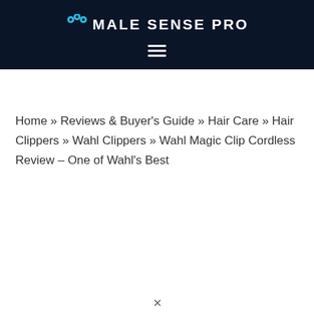MALE SENSE PRO
Home » Reviews & Buyer's Guide » Hair Care » Hair Clippers » Wahl Clippers » Wahl Magic Clip Cordless Review – One of Wahl's Best